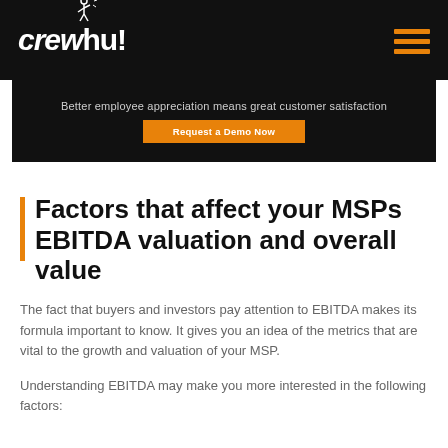crewhu!
[Figure (screenshot): Dark banner with text 'Better employee appreciation means great customer satisfaction' and an orange 'Request a Demo Now' button]
Factors that affect your MSPs EBITDA valuation and overall value
The fact that buyers and investors pay attention to EBITDA makes its formula important to know. It gives you an idea of the metrics that are vital to the growth and valuation of your MSP.
Understanding EBITDA may make you more interested in the following factors: